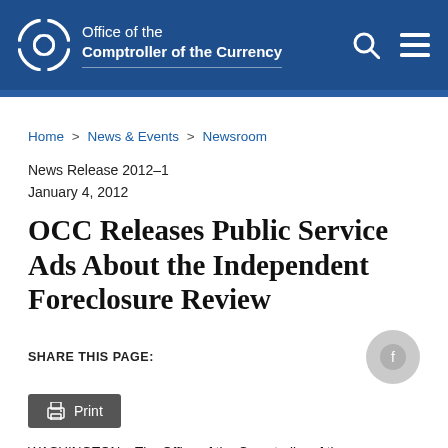[Figure (logo): Office of the Comptroller of the Currency logo with OCC symbol and text]
Home > News & Events > Newsroom
News Release 2012-1
January 4, 2012
OCC Releases Public Service Ads About the Independent Foreclosure Review
SHARE THIS PAGE:
Print
WASHINGTON – The Office of the Comptroller of the